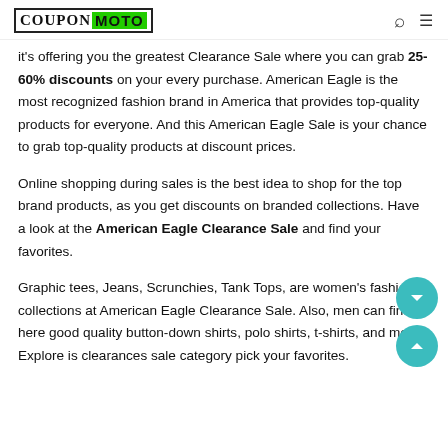COUPON MOTO
it's offering you the greatest Clearance Sale where you can grab 25-60% discounts on your every purchase. American Eagle is the most recognized fashion brand in America that provides top-quality products for everyone. And this American Eagle Sale is your chance to grab top-quality products at discount prices.
Online shopping during sales is the best idea to shop for the top brand products, as you get discounts on branded collections. Have a look at the American Eagle Clearance Sale and find your favorites.
Graphic tees, Jeans, Scrunchies, Tank Tops, are women's fashion collections at American Eagle Clearance Sale. Also, men can find here good quality button-down shirts, polo shirts, t-shirts, and more. Explore is clearances sale category pick your favorites.